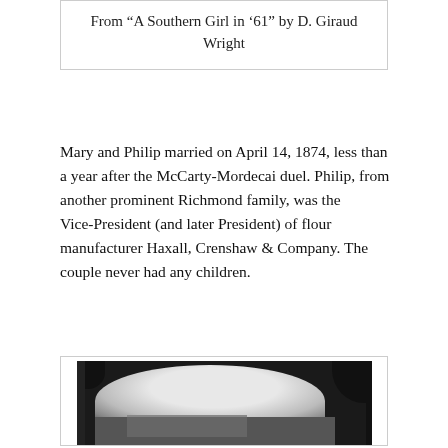From “A Southern Girl in ‘61” by D. Giraud Wright
Mary and Philip married on April 14, 1874, less than a year after the McCarty-Mordecai duel. Philip, from another prominent Richmond family, was the Vice-President (and later President) of flour manufacturer Haxall, Crenshaw & Company. The couple never had any children.
[Figure (photo): Black and white historical photograph showing a building, likely a mill or factory, with a large arched light area in the upper portion and a building with architectural details visible at the bottom.]